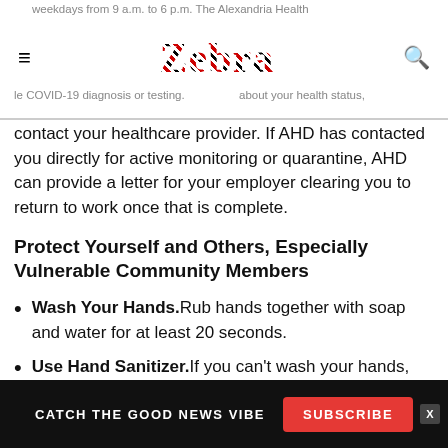weekdays from 9 a.m. to 6 p.m. The Alexandria Health le COVID-19 diagnosis or testing. If you have concerns about your health status,
contact your healthcare provider. If AHD has contacted you directly for active monitoring or quarantine, AHD can provide a letter for your employer clearing you to return to work once that is complete.
Protect Yourself and Others, Especially Vulnerable Community Members
Wash Your Hands. Rub hands together with soap and water for at least 20 seconds.
Use Hand Sanitizer. If you can't wash your hands, use hand sanitizer that contains at least 60% alcohol as you would wash your hands, rubbing them together for 20
CATCH THE GOOD NEWS VIBE  SUBSCRIBE